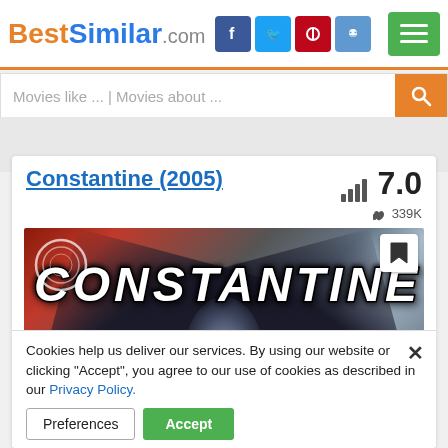BestSimilar.com
Movies like ... | Movies about ...
Constantine (2005)
7.0
339K
[Figure (photo): Movie poster for Constantine (2005) showing the title text in large stylized letters with a figure and dark wings in the background]
Cookies help us deliver our services. By using our website or clicking "Accept", you agree to our use of cookies as described in our Privacy Policy.
Preferences
Accept